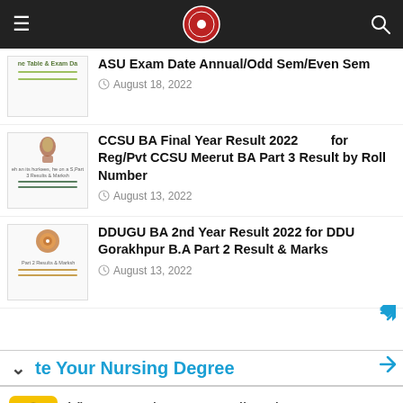≡  [logo]  🔍
ASU Exam Date Annual/Odd Sem/Even Sem
August 18, 2022
CCSU BA Final Year Result 2022 for Reg/Pvt CCSU Meerut BA Part 3 Result by Roll Number
August 13, 2022
DDUGU BA 2nd Year Result 2022 for DDU Gorakhpur B.A Part 2 Result & Marks
August 13, 2022
te Your Nursing Degree
View store hours, get directions, or call your salon!